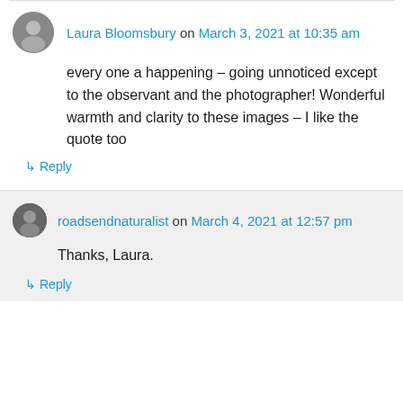Laura Bloomsbury on March 3, 2021 at 10:35 am
every one a happening – going unnoticed except to the observant and the photographer! Wonderful warmth and clarity to these images – I like the quote too
↳ Reply
roadsendnaturalist on March 4, 2021 at 12:57 pm
Thanks, Laura.
↳ Reply